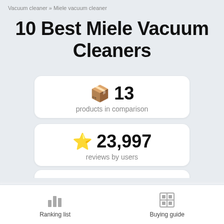Vacuum cleaner » Miele vacuum cleaner
10 Best Miele Vacuum Cleaners
[Figure (infographic): Card showing 13 products in comparison with a box emoji icon]
[Figure (infographic): Card showing 23,997 reviews by users with a gold star emoji icon]
[Figure (infographic): Card showing 7 expert reviews with a notepad and pen emoji icon]
Ranking list   Buying guide